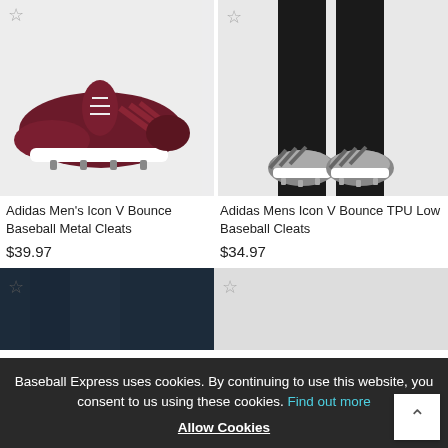[Figure (photo): Adidas Men's Icon V Bounce Baseball Metal Cleats - dark red/maroon shoe on grey background]
Adidas Men's Icon V Bounce Baseball Metal Cleats
$39.97
[Figure (photo): Adidas Mens Icon V Bounce TPU Low Baseball Cleats - grey/white cleats worn on feet with black pants, grey background]
Adidas Mens Icon V Bounce TPU Low Baseball Cleats
$34.97
[Figure (photo): Partial product image - dark navy pants/tights, bottom of page]
[Figure (photo): Partial product image - bottom of page, right side]
Baseball Express uses cookies. By continuing to use this website, you consent to us using these cookies. Find out more
Allow Cookies